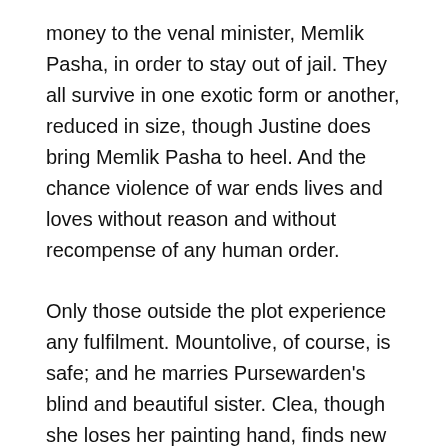money to the venal minister, Memlik Pasha, in order to stay out of jail. They all survive in one exotic form or another, reduced in size, though Justine does bring Memlik Pasha to heel. And the chance violence of war ends lives and loves without reason and without recompense of any human order.
Only those outside the plot experience any fulfilment. Mountolive, of course, is safe; and he marries Pursewarden's blind and beautiful sister. Clea, though she loses her painting hand, finds new power in the replacement. Members of the plot who had fled, such as Capodistria, survive, as does Balthazar, though enfeebled and distracted. Darley is saved to write, having walked out on his job with British intelligence